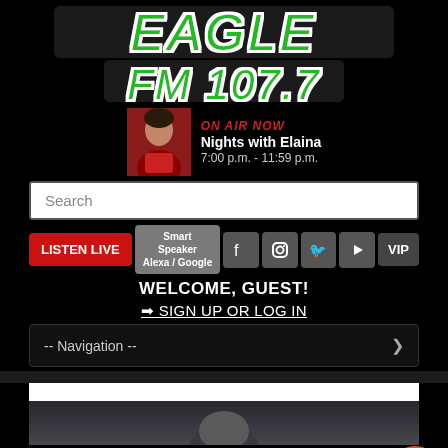[Figure (logo): Radio station logo with stylized text and FM 107.7]
ON AIR NOW
Nights with Elaina
7:00 p.m. - 11:59 p.m.
Search
LISTEN LIVE | Smart Speaker Alexa / Google | Facebook | Instagram | Twitter | YouTube | VIP
WELCOME, GUEST!
→ SIGN UP OR LOG IN
-- Navigation --
Loading...
Loading...
MENU
TEXT US